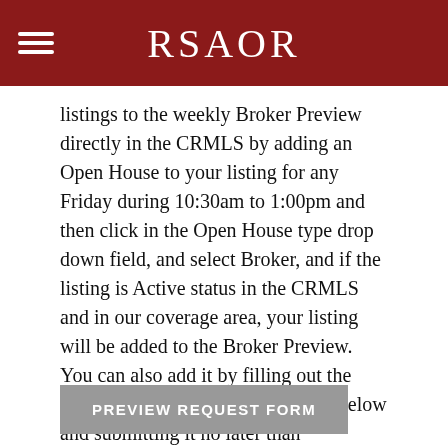RSAOR
listings to the weekly Broker Preview directly in the CRMLS by adding an Open House to your listing for any Friday during 10:30am to 1:00pm and then click in the Open House type drop down field, and select Broker, and if the listing is Active status in the CRMLS and in our coverage area, your listing will be added to the Broker Preview. You can also add it by filling out the Broker Preview Submission Form below and submitting it no later than Wednesday by 5:00pm for the Friday Broker Preview. The Broker Preview will be held in the Rancho Southeast Realtors® office every Friday at 9:00am.
PREVIEW REQUEST FORM